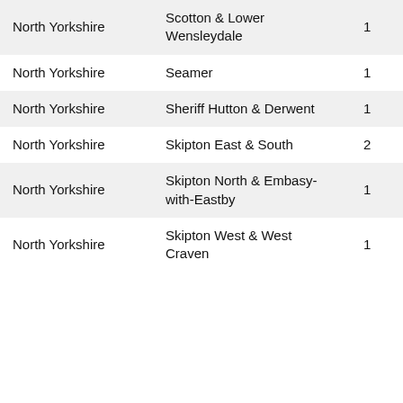| North Yorkshire | Scotton & Lower Wensleydale | 1 |
| North Yorkshire | Seamer | 1 |
| North Yorkshire | Sheriff Hutton & Derwent | 1 |
| North Yorkshire | Skipton East & South | 2 |
| North Yorkshire | Skipton North & Embasy-with-Eastby | 1 |
| North Yorkshire | Skipton West & West Craven | 1 |